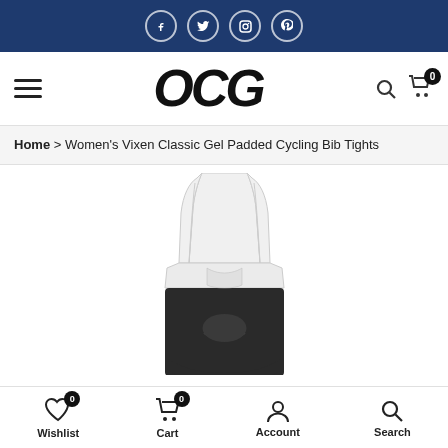Social media icons bar: Facebook, Twitter, Instagram, Pinterest
[Figure (screenshot): OCG website navigation bar with hamburger menu, OCG logo, search and cart icons]
Home > Women's Vixen Classic Gel Padded Cycling Bib Tights
[Figure (photo): Women's Vixen Classic Gel Padded Cycling Bib Tights product image - white bib top with black shorts]
Wishlist 0 | Cart 0 | Account | Search